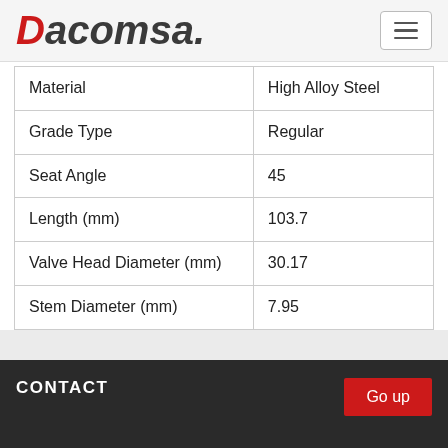Dacomsa
| Material | High Alloy Steel |
| Grade Type | Regular |
| Seat Angle | 45 |
| Length (mm) | 103.7 |
| Valve Head Diameter (mm) | 30.17 |
| Stem Diameter (mm) | 7.95 |
CONTACT  Go up